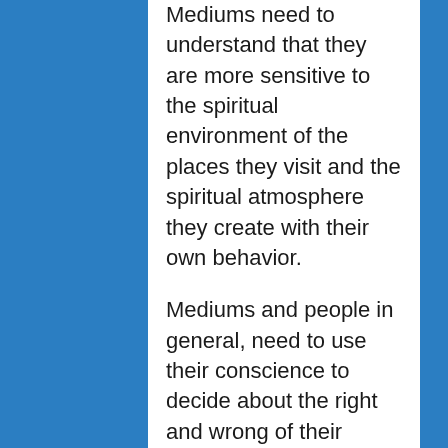Mediums need to understand that they are more sensitive to the spiritual environment of the places they visit and the spiritual atmosphere they create with their own behavior.
Mediums and people in general, need to use their conscience to decide about the right and wrong of their decisions. Live a life full of love, respect for others, honesty, charity. That is the best way to create an elevated spiritual atmosphere around us and to assure that highly harmonic spirits will come to our help. It also constitutes a fraternal way to educate disharmonic spirit that